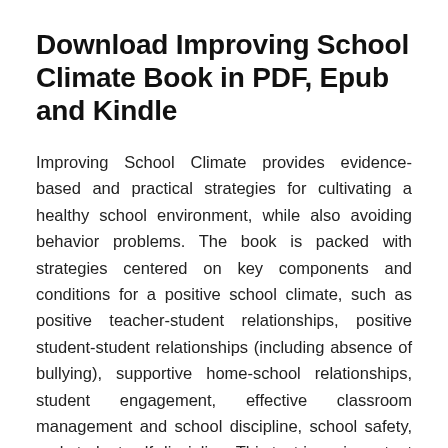Download Improving School Climate Book in PDF, Epub and Kindle
Improving School Climate provides evidence-based and practical strategies for cultivating a healthy school environment, while also avoiding behavior problems. The book is packed with strategies centered on key components and conditions for a positive school climate, such as positive teacher-student relationships, positive student-student relationships (including absence of bullying), supportive home-school relationships, student engagement, effective classroom management and school discipline, school safety, and student self-discipline. This text is an important inclusion for educators and